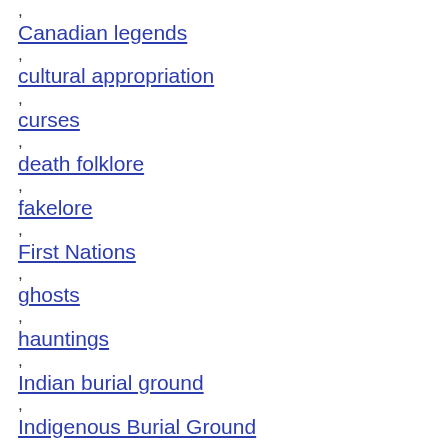, Canadian legends
, cultural appropriation
, curses
, death folklore
, fakelore
, First Nations
, ghosts
, hauntings
, Indian burial ground
, Indigenous Burial Ground
, Indigenous ghosts
, memes
, Native American